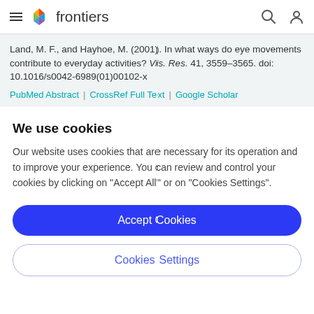frontiers
Land, M. F., and Hayhoe, M. (2001). In what ways do eye movements contribute to everyday activities? Vis. Res. 41, 3559–3565. doi: 10.1016/s0042-6989(01)00102-x
PubMed Abstract | CrossRef Full Text | Google Scholar
We use cookies
Our website uses cookies that are necessary for its operation and to improve your experience. You can review and control your cookies by clicking on "Accept All" or on "Cookies Settings".
Accept Cookies
Cookies Settings